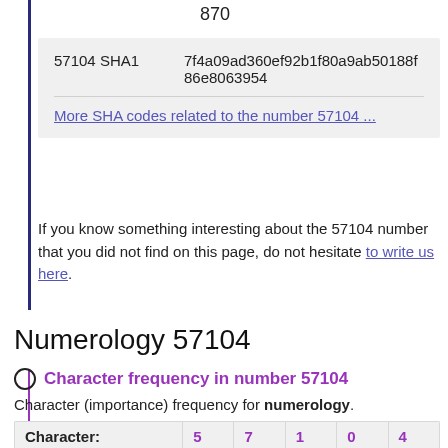870
| 57104 SHA1 | 7f4a09ad360ef92b1f80a9ab50188f86e8063954 |
| --- | --- |
More SHA codes related to the number 57104 ...
If you know something interesting about the 57104 number that you did not find on this page, do not hesitate to write us here.
Numerology 57104
Character frequency in number 57104
Character (importance) frequency for numerology.
| Character: | 5 | 7 | 1 | 0 | 4 |
| --- | --- | --- | --- | --- | --- |